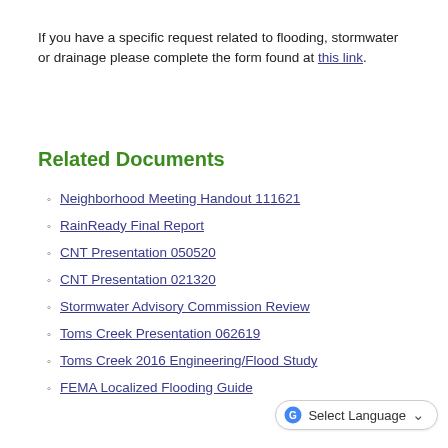If you have a specific request related to flooding, stormwater or drainage please complete the form found at this link.
Related Documents
Neighborhood Meeting Handout 111621
RainReady Final Report
CNT Presentation 050520
CNT Presentation 021320
Stormwater Advisory Commission Review
Toms Creek Presentation 062619
Toms Creek 2016 Engineering/Flood Study
FEMA Localized Flooding Guide